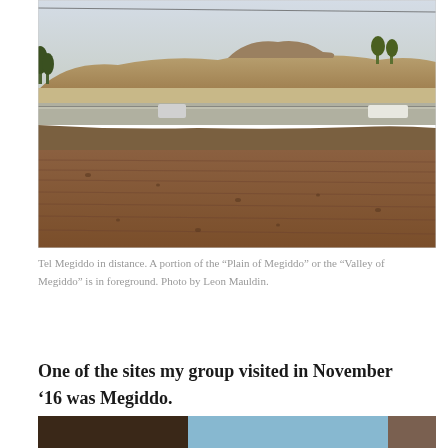[Figure (photo): Landscape photo showing Tel Megiddo in the distance with a highway in the middle ground and a large ploughed brownish-red field in the foreground. Some trees and hills visible in the background under a pale sky.]
Tel Megiddo in distance. A portion of the “Plain of Megiddo” or the “Valley of Megiddo” is in foreground. Photo by Leon Mauldin.
One of the sites my group visited in November ’16 was Megiddo.
[Figure (photo): Partial view of a second photo at the bottom of the page, showing what appears to be stone ruins or rock formations against a blue sky.]